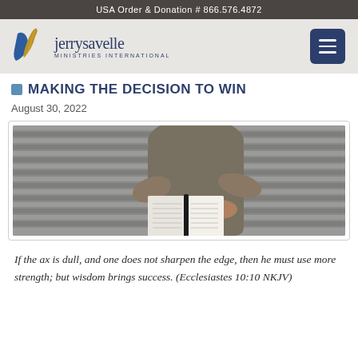USA Order & Donation # 866.576.4872
[Figure (logo): Jerry Savelle Ministries International logo with blue and gold ribbon/quill graphic and text 'jerrysavelle MINISTRIES INTERNATIONAL']
MAKING THE DECISION TO WIN
August 30, 2022
[Figure (photo): A man in a gray t-shirt holding and reading an open Bible, standing in front of a corrugated metal wall backdrop]
If the ax is dull, and one does not sharpen the edge, then he must use more strength; but wisdom brings success. (Ecclesiastes 10:10 NKJV)